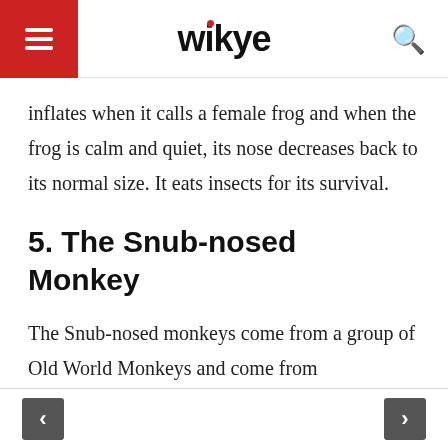wikye
inflates when it calls a female frog and when the frog is calm and quiet, its nose decreases back to its normal size. It eats insects for its survival.
5. The Snub-nosed Monkey
The Snub-nosed monkeys come from a group of Old World Monkeys and come from Rhinopithecus species. The monkeys
< >